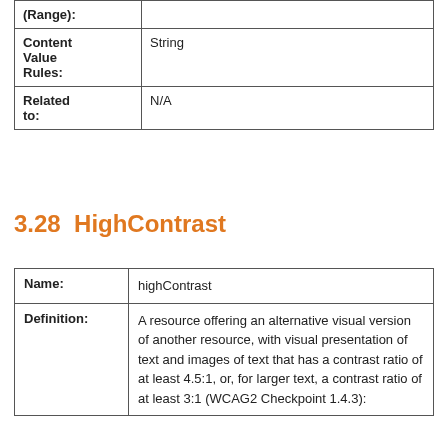| Field | Value |
| --- | --- |
| (Range): |  |
| Content Value Rules: | String |
| Related to: | N/A |
3.28  HighContrast
| Field | Value |
| --- | --- |
| Name: | highContrast |
| Definition: | A resource offering an alternative visual version of another resource, with visual presentation of text and images of text that has a contrast ratio of at least 4.5:1, or, for larger text, a contrast ratio of at least 3:1 (WCAG2 Checkpoint 1.4.3): |